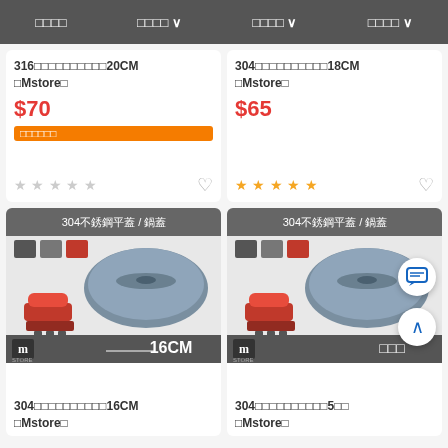□□□□  □□□□ ∨  □□□□ ∨  □□□□ ∨
316□□□□□□□□□□20CM □Mstore□
$70
□□□□□□
304□□□□□□□□□□18CM □Mstore□
$65
[Figure (photo): 304不銹鋼平蓋/鍋蓋 product image showing a stainless steel flat lid with rice cooker, size 16CM, M Store branding]
304□□□□□□□□□□16CM □Mstore□
[Figure (photo): 304不銹鋼平蓋/鍋蓋 product image showing a stainless steel flat lid with rice cooker, M Store branding]
304□□□□□□□□□□5□□ □Mstore□